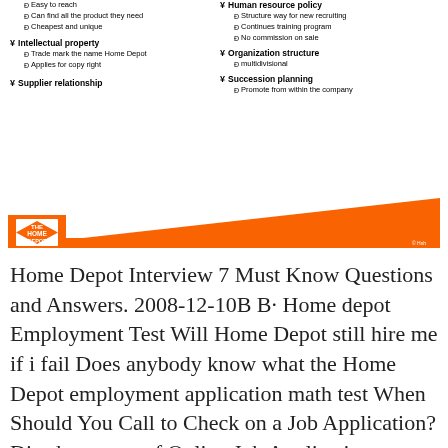Easy to reach
Can find all the product they need
Cheapest and unique
¥ Intellectual property
Trade mark the name Home Depot
Applies for copy right
¥ Supplier relationship
¥ Human resource policy
Structure way for new recruiting
Continues training program
No commission on sale
¥ Organization structure
multidivisional
¥ Succession planning
Promote from within the company
[Figure (logo): Home Depot logo with orange banner/wedge graphic]
Home Depot Interview 7 Must Know Questions and Answers. 2008-12-10B B· Home depot Employment Test Will Home Depot still hire me if i fail Does anybody know what the Home Depot employment application math test When Should You Call to Check on a Job Application? Disadvantages of Online Job Applications; "How to Get a Job at